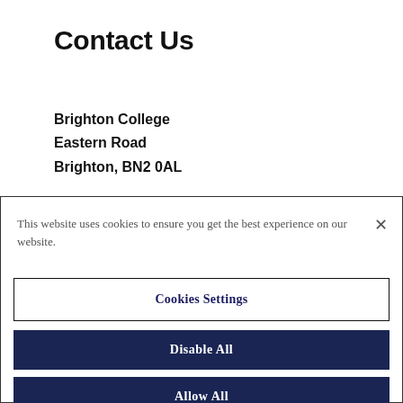Contact Us
Brighton College
Eastern Road
Brighton, BN2 0AL
ob@oldbrightonians.com
This website uses cookies to ensure you get the best experience on our website.
×
Cookies Settings
Disable All
Allow All